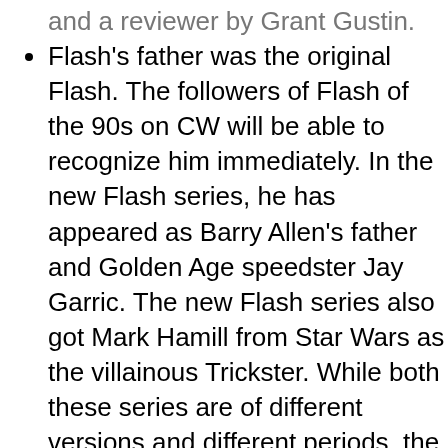Flash's father was the original Flash. The followers of Flash of the 90s on CW will be able to recognize him immediately. In the new Flash series, he has appeared as Barry Allen's father and Golden Age speedster Jay Garric. The new Flash series also got Mark Hamill from Star Wars as the villainous Trickster. While both these series are of different versions and different periods, the characters were shown in flashback. That is how the two characters were paid homage to.
A Batman Beyond reference is brought out by a character called Nora, who comes down from the future. The only word she has from the past is a slang word "Batman" which becomes for the B...